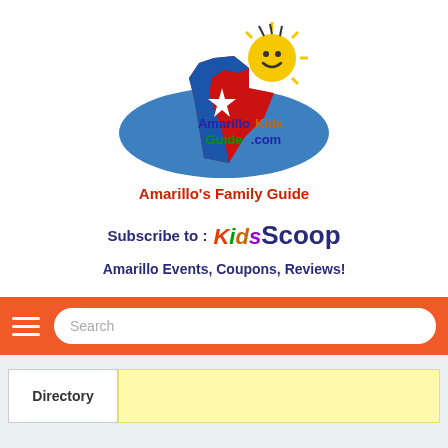[Figure (logo): AmarilloKidsGuide.com logo with Texas state silhouette in blue and red, a star, and a smiley sun character, with the website name in colorful text on a blue ellipse]
Amarillo's Family Guide
Subscribe to : Kids Scoop
Amarillo Events, Coupons, Reviews!
[Figure (screenshot): Orange navigation bar with hamburger menu icon and a rounded search box with placeholder text 'Search']
Directory